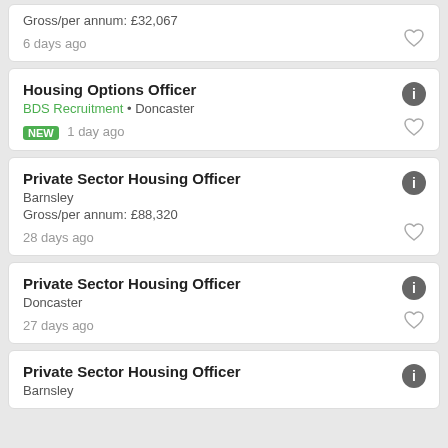Gross/per annum: £32,067
6 days ago
Housing Options Officer
BDS Recruitment • Doncaster
NEW 1 day ago
Private Sector Housing Officer
Barnsley
Gross/per annum: £88,320
28 days ago
Private Sector Housing Officer
Doncaster
27 days ago
Private Sector Housing Officer
Barnsley